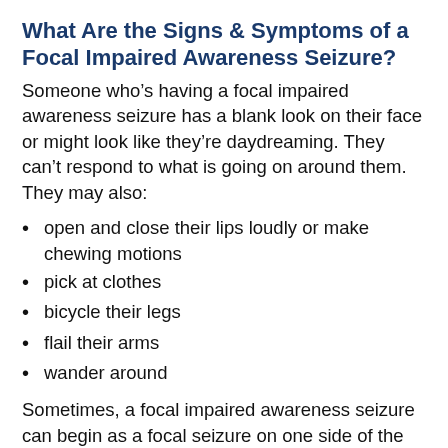What Are the Signs & Symptoms of a Focal Impaired Awareness Seizure?
Someone who’s having a focal impaired awareness seizure has a blank look on their face or might look like they’re daydreaming. They can’t respond to what is going on around them. They may also:
open and close their lips loudly or make chewing motions
pick at clothes
bicycle their legs
flail their arms
wander around
Sometimes, a focal impaired awareness seizure can begin as a focal seizure on one side of the brain, then spread to both sides. This is called a focal-to-